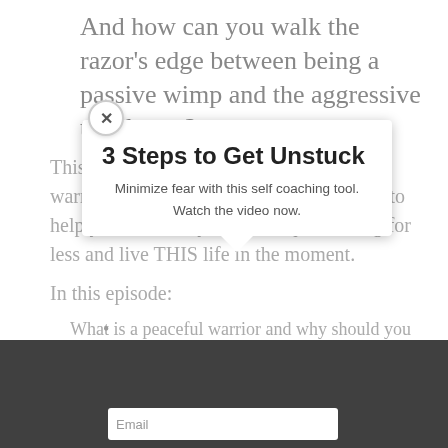And how can you walk the razor's edge between being a passive wimp and the aggressive tough guy?
This week, legendary author and peaceful warrior Dan Millman is on The New Man to help you confront your fears, quit settling for less and live THIS life in the moment.
In this episode:
What is a peaceful warrior and why should you care?
How to live your life as a peaceful warrior
Is spirituality just some idealistic, high level, pie-in-the-sky cream dream or does it reside where "the rubber meets the road?"
How to tell the difference between objective and subjective fears
[Figure (infographic): Popup overlay with title '3 Steps to Get Unstuck', subtitle 'Minimize fear with this self coaching tool.', link 'Watch the video now.' with a downward pointing triangle at the bottom. A close (×) button appears in the top-left corner of the popup. Behind is a dark bar at the bottom with an email input field.]